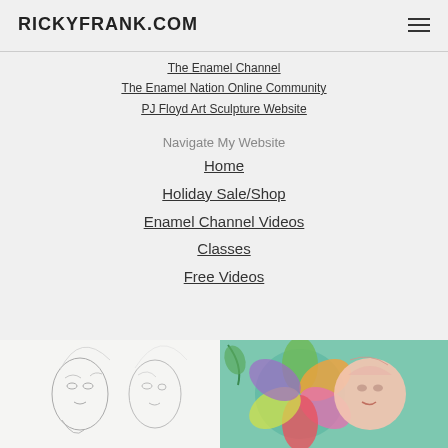RICKYFRANK.COM
The Enamel Channel
The Enamel Nation Online Community
PJ Floyd Art Sculpture Website
Navigate My Website
Home
Holiday Sale/Shop
Enamel Channel Videos
Classes
Free Videos
[Figure (illustration): Artwork showing face sketches in pencil on the left and colorful enamel face artwork on the right]